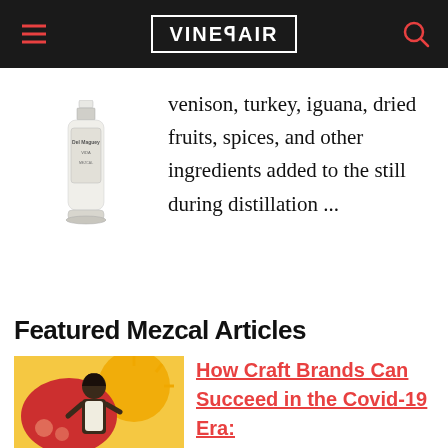VINEPAIR
[Figure (photo): A bottle of mezcal spirit product on white background]
venison, turkey, iguana, dried fruits, spices, and other ingredients added to the still during distillation ...
Featured Mezcal Articles
[Figure (illustration): Illustrated woman in apron with yellow and red background, craft-style illustration]
How Craft Brands Can Succeed in the Covid-19 Era: